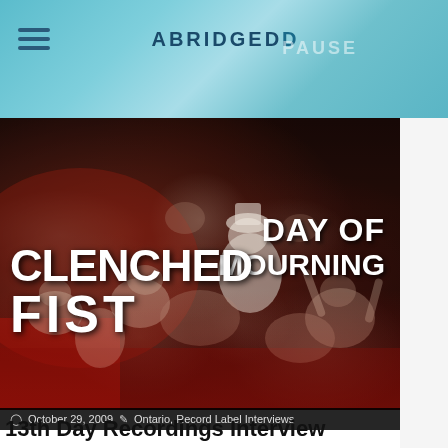ABRIDGED PAUSE
[Figure (photo): Concert/show photo showing a mosh pit crowd with two band name overlays: 'DAY OF MOURNING' in the upper right and 'CLENCHED FIST' in the lower left, dark atmospheric image with red lighting accents]
October 29, 2009 · Ontario, Record Label Interviews
13th Day Recordings Interview